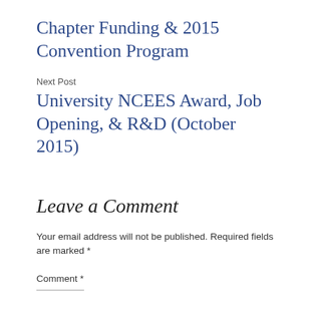Chapter Funding & 2015 Convention Program
Next Post
University NCEES Award, Job Opening, & R&D (October 2015)
Leave a Comment
Your email address will not be published. Required fields are marked *
Comment *